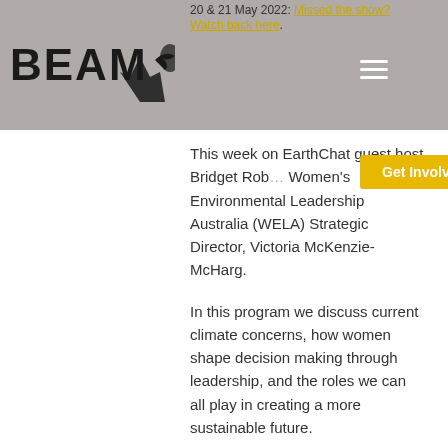20 & 21 May 2022: Missed the show? Watch back here.
[Figure (logo): BEAM logo with mountain and raven graphic]
Get Involved
This week on EarthChat guest host Bridget Rob... Women's Environmental Leadership Australia (WELA) Strategic Director, Victoria McKenzie-McHarg.
In this program we discuss current climate concerns, how women shape decision making through leadership, and the roles we can all play in creating a more sustainable future.
WELA was born out of an Australian Research Council project, Diversity in Leadership: Australian women, past and present, which revealed the vital role